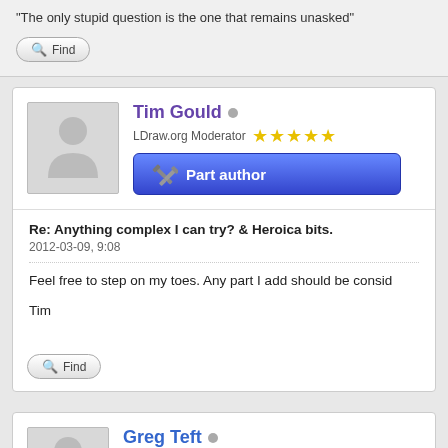"The only stupid question is the one that remains unasked"
Find
Tim Gould
LDraw.org Moderator
[Figure (illustration): Part author button with wrench icon]
Re: Anything complex I can try? & Heroica bits.
2012-03-09, 9:08
Feel free to step on my toes. Any part I add should be consid
Tim
Find
Greg Teft
Seasoned LDrawer